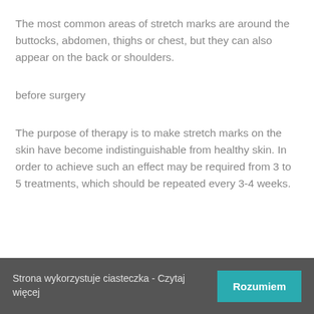The most common areas of stretch marks are around the buttocks, abdomen, thighs or chest, but they can also appear on the back or shoulders.
before surgery
The purpose of therapy is to make stretch marks on the skin have become indistinguishable from healthy skin. In order to achieve such an effect may be required from 3 to 5 treatments, which should be repeated every 3-4 weeks.
Strona wykorzystuje ciasteczka - Czytaj więcej | Rozumiem